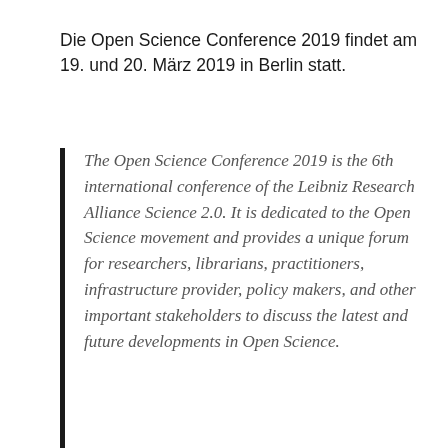Die Open Science Conference 2019 findet am 19. und 20. März 2019 in Berlin statt.
The Open Science Conference 2019 is the 6th international conference of the Leibniz Research Alliance Science 2.0. It is dedicated to the Open Science movement and provides a unique forum for researchers, librarians, practitioners, infrastructure provider, policy makers, and other important stakeholders to discuss the latest and future developments in Open Science.
The Open Science movement made substantial progress and receives increasing recognition in the research system. The